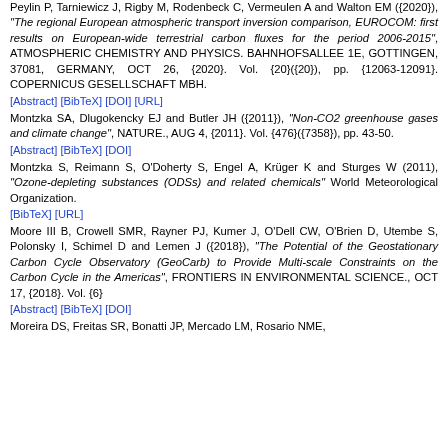Peylin P, Tarniewicz J, Rigby M, Rodenbeck C, Vermeulen A and Walton EM ({2020}), "The regional European atmospheric transport inversion comparison, EUROCOM: first results on European-wide terrestrial carbon fluxes for the period 2006-2015", ATMOSPHERIC CHEMISTRY AND PHYSICS. BAHNHOFSALLEE 1E, GOTTINGEN, 37081, GERMANY, OCT 26, {2020}. Vol. {20}({20}), pp. {12063-12091}. COPERNICUS GESELLSCHAFT MBH.
[Abstract] [BibTeX] [DOI] [URL]
Montzka SA, Dlugokencky EJ and Butler JH ({2011}), "Non-CO2 greenhouse gases and climate change", NATURE., AUG 4, {2011}. Vol. {476}({7358}), pp. 43-50.
[Abstract] [BibTeX] [DOI]
Montzka S, Reimann S, O'Doherty S, Engel A, Krüger K and Sturges W (2011), "Ozone-depleting substances (ODSs) and related chemicals" World Meteorological Organization.
[BibTeX] [URL]
Moore III B, Crowell SMR, Rayner PJ, Kumer J, O'Dell CW, O'Brien D, Utembe S, Polonsky I, Schimel D and Lemen J ({2018}), "The Potential of the Geostationary Carbon Cycle Observatory (GeoCarb) to Provide Multi-scale Constraints on the Carbon Cycle in the Americas", FRONTIERS IN ENVIRONMENTAL SCIENCE., OCT 17, {2018}. Vol. {6}
[Abstract] [BibTeX] [DOI]
Moreira DS, Freitas SR, Bonatti JP, Mercado LM, Rosario NME,